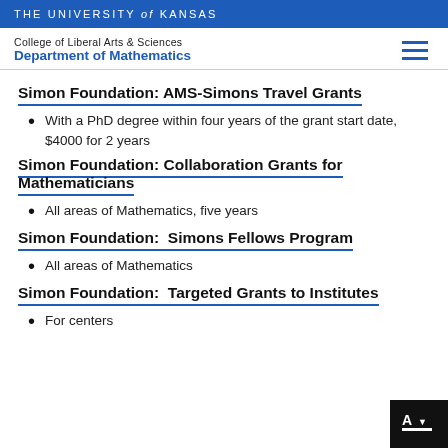THE UNIVERSITY of KANSAS
College of Liberal Arts & Sciences
Department of Mathematics
Simon Foundation: AMS-Simons Travel Grants
With a PhD degree within four years of the grant start date, $4000 for 2 years
Simon Foundation: Collaboration Grants for Mathematicians
All areas of Mathematics, five years
Simon Foundation:  Simons Fellows Program
All areas of Mathematics
Simon Foundation:  Targeted Grants to Institutes
For centers